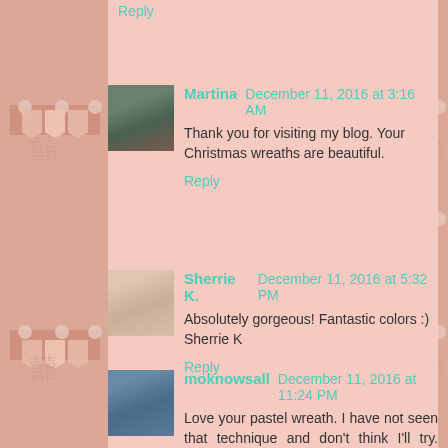Reply
Martina   December 11, 2016 at 3:16 AM
Thank you for visiting my blog. Your Christmas wreaths are beautiful.
Reply
Sherrie K.   December 11, 2016 at 5:32 PM
Absolutely gorgeous! Fantastic colors :)
Sherrie K
Reply
moknowsall   December 11, 2016 at 11:24 PM
Love your pastel wreath. I have not seen that technique and don't think I'll try. Thanks for joining our BBTB2 challenge this week. It turned out great.
Reply